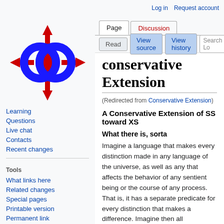Log in   Request account
[Figure (logo): Wikimedia-style logo with two blue interlocking rings and red directional arrows pointing in four cardinal directions]
Learning
Questions
Live chat
Contacts
Recent changes
Tools
What links here
Related changes
Special pages
Printable version
Permanent link
Page information
Conservative Extension
(Redirected from Conservative Extension)
A Conservative Extension of SS toward XS
What there is, sorta
Imagine a language that makes every distinction made in any language of the universe, as well as any that affects the behavior of any sentient being or the course of any process. That is, it has a separate predicate for every distinction that makes a difference. Imagine then all